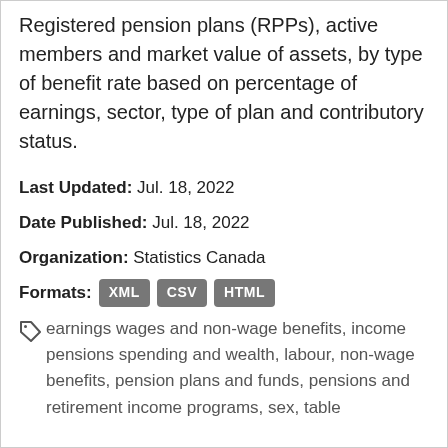Registered pension plans (RPPs), active members and market value of assets, by type of benefit rate based on percentage of earnings, sector, type of plan and contributory status.
Last Updated: Jul. 18, 2022
Date Published: Jul. 18, 2022
Organization: Statistics Canada
Formats: XML CSV HTML
earnings wages and non-wage benefits, income pensions spending and wealth, labour, non-wage benefits, pension plans and funds, pensions and retirement income programs, sex, table